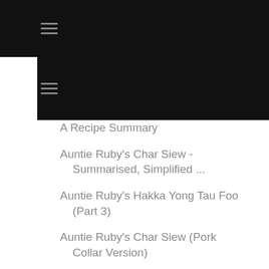[Figure (other): Black top navigation bar with hamburger menu icon]
[Figure (other): Second black navigation bar with hamburger menu icon]
A Recipe Summary
Auntie Ruby's Char Siew - Summarised, Simplified ...
Auntie Ruby's Hakka Yong Tau Foo (Part 3)
Auntie Ruby's Char Siew (Pork Collar Version)
Auntie Ruby's Hakka Yong Tau Foo (Part 2)
Auntie Ruby's Hakka Yong Tau Foo - An Introduction